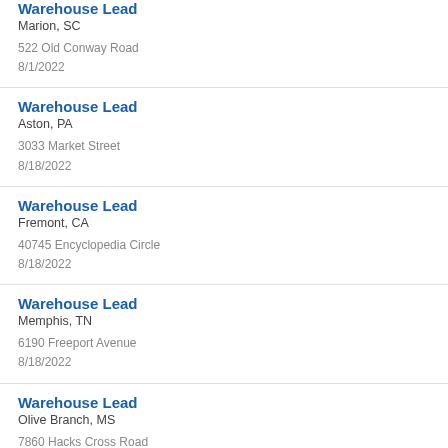Warehouse Lead
Marion, SC
522 Old Conway Road
8/1/2022
Warehouse Lead
Aston, PA
3033 Market Street
8/18/2022
Warehouse Lead
Fremont, CA
40745 Encyclopedia Circle
8/18/2022
Warehouse Lead
Memphis, TN
6190 Freeport Avenue
8/18/2022
Warehouse Lead
Olive Branch, MS
7860 Hacks Cross Road
8/17/2022
Warehouse Lead
La Habra, CA